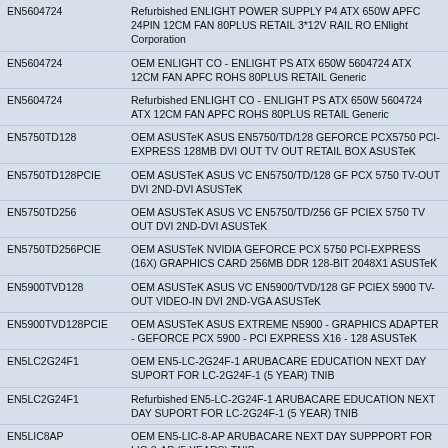| Code | Description |
| --- | --- |
| EN5604724 | Refurbished ENLIGHT POWER SUPPLY P4 ATX 650W APFC 24PIN 12CM FAN 80PLUS RETAIL 3*12V RAIL RO ENlight Corporation |
| EN5604724 | OEM ENLIGHT CO - ENLIGHT PS ATX 650W 5604724 ATX 12CM FAN APFC ROHS 80PLUS RETAIL Generic |
| EN5604724 | Refurbished ENLIGHT CO - ENLIGHT PS ATX 650W 5604724 ATX 12CM FAN APFC ROHS 80PLUS RETAIL Generic |
| EN5750TD128 | OEM ASUSTeK ASUS EN5750/TD/128 GEFORCE PCX5750 PCI-EXPRESS 128MB DVI OUT TV OUT RETAIL BOX ASUSTeK |
| EN5750TD128PCIE | OEM ASUSTeK ASUS VC EN5750/TD/128 GF PCX 5750 TV-OUT DVI 2ND-DVI ASUSTeK |
| EN5750TD256 | OEM ASUSTeK ASUS VC EN5750/TD/256 GF PCIEX 5750 TV OUT DVI 2ND-DVI ASUSTeK |
| EN5750TD256PCIE | OEM ASUSTeK NVIDIA GEFORCE PCX 5750 PCI-EXPRESS (16X) GRAPHICS CARD 256MB DDR 128-BIT 2048X1 ASUSTeK |
| EN5900TVD128 | OEM ASUSTeK ASUS VC EN5900/TVD/128 GF PCIEX 5900 TV-OUT VIDEO-IN DVI 2ND-VGA ASUSTeK |
| EN5900TVD128PCIE | OEM ASUSTeK ASUS EXTREME N5900 - GRAPHICS ADAPTER - GEFORCE PCX 5900 - PCI EXPRESS X16 - 128 ASUSTeK |
| EN5LC2G24F1 | OEM EN5-LC-2G24F-1 ARUBACARE EDUCATION NEXT DAY SUPORT FOR LC-2G24F-1 (5 YEAR) TNIB |
| EN5LC2G24F1 | Refurbished EN5-LC-2G24F-1 ARUBACARE EDUCATION NEXT DAY SUPORT FOR LC-2G24F-1 (5 YEAR) TNIB |
| EN5LIC8AP | OEM EN5-LIC-8-AP ARUBACARE NEXT DAY SUPPPORT FOR LIC-8-AP (5 YEARS) TNIB |
| EN5LIC8AP | Refurbished EN5-LIC-8-AP ARUBACARE NEXT DAY SUPPPORT FOR LIC-8-AP (5 YEARS) TNIB |
| EN5LICPEFNG4 | OEM EN5-LIC-PEFNG-4 SUPPORT FOR LIC-PEFNG-4 (5 YEAR) TNIB |
|  | Refurbished EN5-LIC-PEFNG-4 SUPPORT FOR LIC-PEF... |